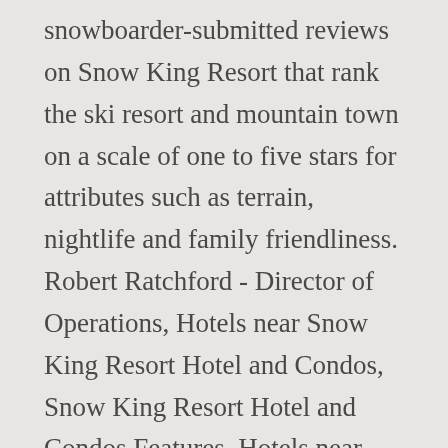snowboarder-submitted reviews on Snow King Resort that rank the ski resort and mountain town on a scale of one to five stars for attributes such as terrain, nightlife and family friendliness. Robert Ratchford - Director of Operations, Hotels near Snow King Resort Hotel and Condos, Snow King Resort Hotel and Condos Features, Hotels near Snow King Sports & Events Center, Hotels near The Wandering Angler Day Tours, Hotels near VIP Adventure Travel Day Tours, Tripadvisor Plus Subscription Terms & Conditions. There's plenty of adventures to be found. Are any cleaning services offered at Snow King Resort Hotel and Condos? Snow King Resort Hotel and Condos, Jackson: 63 Hotel Reviews, 74...